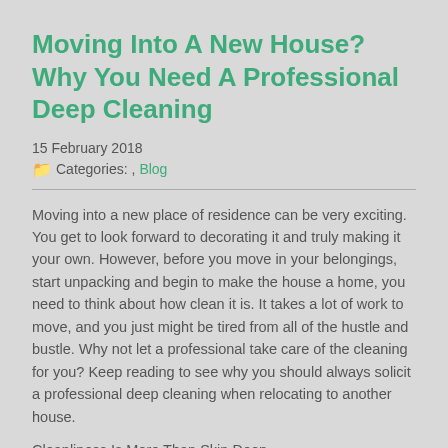Moving Into A New House? Why You Need A Professional Deep Cleaning
15 February 2018
Categories: , Blog
Moving into a new place of residence can be very exciting. You get to look forward to decorating it and truly making it your own. However, before you move in your belongings, start unpacking and begin to make the house a home, you need to think about how clean it is. It takes a lot of work to move, and you just might be tired from all of the hustle and bustle. Why not let a professional take care of the cleaning for you? Keep reading to see why you should always solicit a professional deep cleaning when relocating to another house.
Cleanliness Is More Than Skin Deep
Some people who are trying to sell a home only do a light